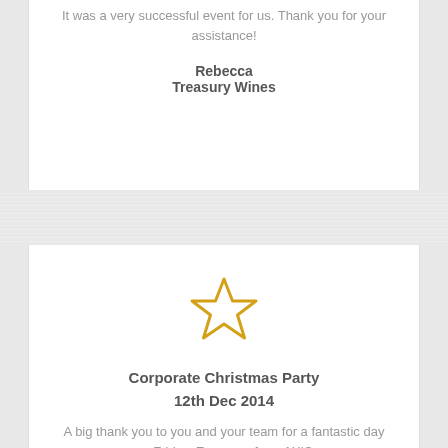It was a very successful event for us. Thank you for your assistance!
Rebecca
Treasury Wines
[Figure (illustration): Gold/yellow outlined star icon, unfilled, centered on the card]
Corporate Christmas Party
12th Dec 2014
A big thank you to you and your team for a fantastic day on Friday. Everyone from AXIS